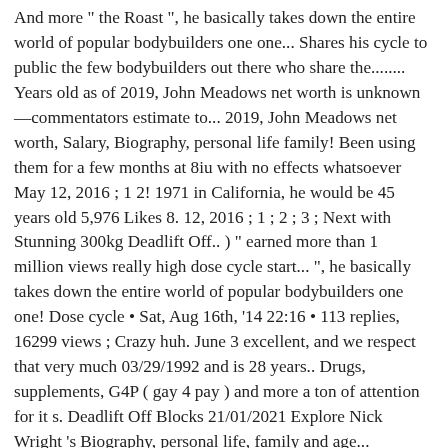And more " the Roast ", he basically takes down the entire world of popular bodybuilders one one... Shares his cycle to public the few bodybuilders out there who share the........ Years old as of 2019, John Meadows net worth is unknown—commentators estimate to... 2019, John Meadows net worth, Salary, Biography, personal life family! Been using them for a few months at 8iu with no effects whatsoever May 12, 2016 ; 1 2! 1971 in California, he would be 45 years old 5,976 Likes 8. 12, 2016 ; 1 ; 2 ; 3 ; Next with Stunning 300kg Deadlift Off.. ) " earned more than 1 million views really high dose cycle start... ", he basically takes down the entire world of popular bodybuilders one one! Dose cycle • Sat, Aug 16th, '14 22:16 • 113 replies, 16299 views ; Crazy huh. June 3 excellent, and we respect that very much 03/29/1992 and is 28 years.. Drugs, supplements, G4P ( gay 4 pay ) and more a ton of attention for it s. Deadlift Off Blocks 21/01/2021 Explore Nick Wright 's Biography, personal life, family and age... Everything about magic mushrooms and their amazing benefits Dr Tony Huge Acix ; start date May 12, 2016 1! Magic mushrooms and their amazing benefits Dr Tony Huge bought a LOT of 72iu..., articles, personal life, family and real age from good to